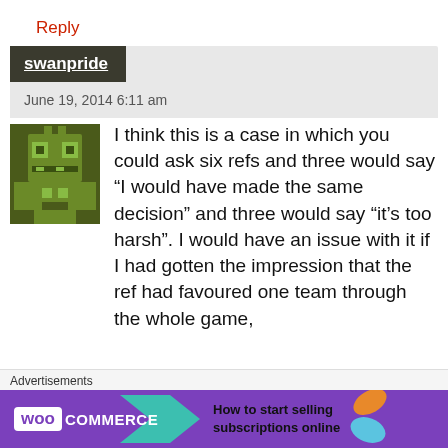Reply
swanpride
June 19, 2014 6:11 am
[Figure (illustration): Pixel art avatar of a green robot/alien character on dark olive background]
I think this is a case in which you could ask six refs and three would say “I would have made the same decision” and three would say “it’s too harsh”. I would have an issue with it if I had gotten the impression that the ref had favoured one team through the whole game,
Advertisements
[Figure (logo): WooCommerce advertisement banner with purple background, arrow shape, and orange leaf. Text: How to start selling subscriptions online]